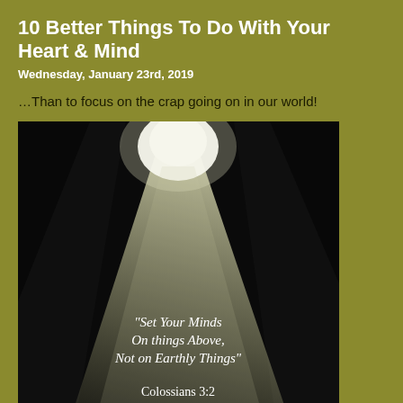10 Better Things To Do With Your Heart & Mind
Wednesday, January 23rd, 2019
…Than to focus on the crap going on in our world!
[Figure (photo): Dark cave or cavern with a beam of bright white light shining down from an opening above, with text overlay reading: "Set Your Minds On things Above, Not on Earthly Things" Colossians 3:2]
If you haven't felt upset this week over all the horrible things on the news feed, you may not be paying attention. The world is a wreck! It's full of hea when I think I've seen or heard it all, satan rears back up and says, "Here